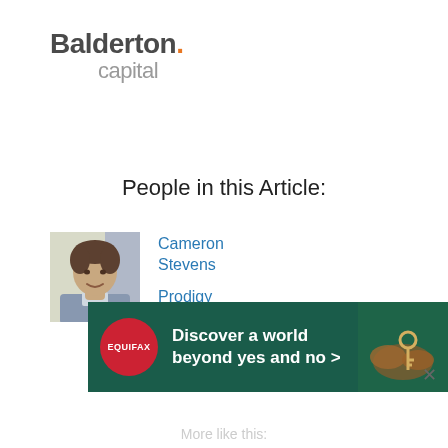[Figure (logo): Balderton Capital logo — 'Balderton.' in dark grey with orange dot, 'capital' in light grey below and offset right]
People in this Article:
[Figure (photo): Headshot photo of Cameron Stevens, a young man smiling, photographed outdoors]
Cameron Stevens
Prodigy Finance CEO and Founder
[Figure (infographic): Equifax advertisement banner: 'Discover a world beyond yes and no >' with Equifax logo circle and image of hands holding keys on green background]
More like this: